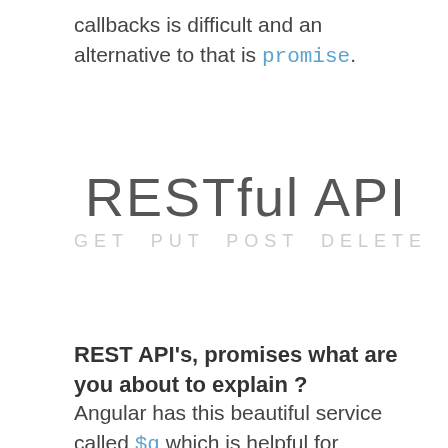callbacks is difficult and an alternative to that is promise.
[Figure (illustration): Decorative text graphic showing 'RESTful API' in large light gray letters with subtitle 'GET PUT POST DELETE' in smaller spaced light gray capitals below]
REST API's, promises what are you about to explain ?
Angular has this beautiful service called $q which is helpful for creating promises and using them in your angular.